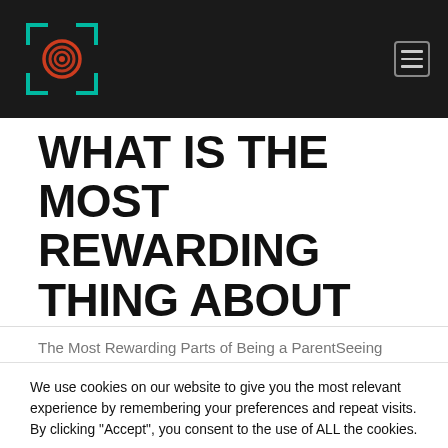Navigation header with logo and hamburger menu
WHAT IS THE MOST REWARDING THING ABOUT BEING A PARENT?
The Most Rewarding Parts of Being a ParentSeeing
We use cookies on our website to give you the most relevant experience by remembering your preferences and repeat visits. By clicking “Accept”, you consent to the use of ALL the cookies.
Do not sell my personal information.